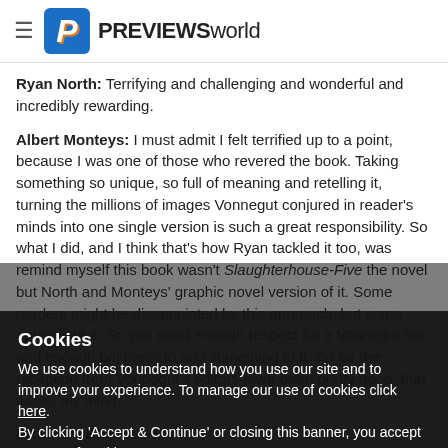PREVIEWS world
Ryan North: Terrifying and challenging and wonderful and incredibly rewarding.
Albert Monteys: I must admit I felt terrified up to a point, because I was one of those who revered the book. Taking something so unique, so full of meaning and retelling it, turning the millions of images Vonnegut conjured in reader's minds into one single version is such a great responsibility. So what I did, and I think that's how Ryan tackled it too, was remind myself this book wasn't Slaughterhouse-Five the novel but North and Monteys' graphic novel version of it. Some readers might be disappointed by this approach, but some appreciate it. So you need enough respect for a Vonnegut fan and enough boldness to add something to it. So far the reception from Vonnegut's editors have been pretty good, that eases my mind.
PREVIEWSworld: Who do you hop
Ryan North:
Cookies
We use cookies to understand how you use our site and to improve your experience. To manage our use of cookies click here. By clicking 'Accept & Continue' or closing this banner, you accept our use of cookies.